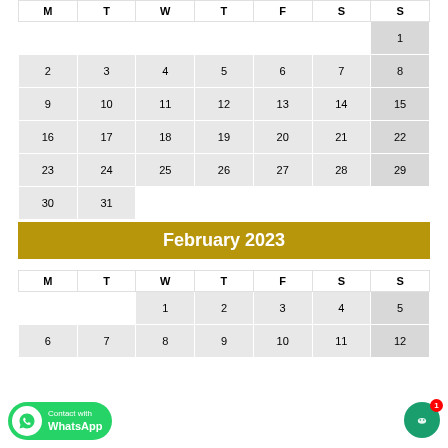| M | T | W | T | F | S | S |
| --- | --- | --- | --- | --- | --- | --- |
|  |  |  |  |  |  | 1 |
| 2 | 3 | 4 | 5 | 6 | 7 | 8 |
| 9 | 10 | 11 | 12 | 13 | 14 | 15 |
| 16 | 17 | 18 | 19 | 20 | 21 | 22 |
| 23 | 24 | 25 | 26 | 27 | 28 | 29 |
| 30 | 31 |  |  |  |  |  |
February 2023
| M | T | W | T | F | S | S |
| --- | --- | --- | --- | --- | --- | --- |
|  |  | 1 | 2 | 3 | 4 | 5 |
| 6 | 7 | 8 | 9 | 10 | 11 | 12 |